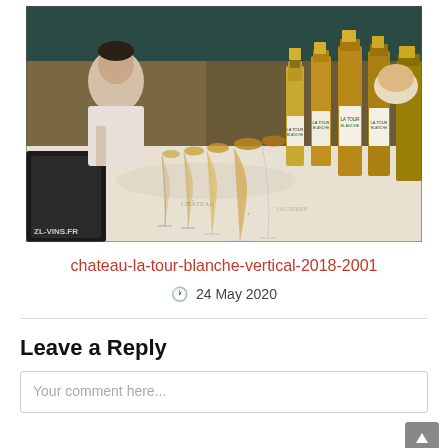[Figure (photo): Wine tasting event photo showing a table lined with wine glasses filled with golden/amber wine and several bottles of Chateau La Tour Blanche. A man is visible in the background leaning over the table. Watermark reads 'ZL-VINS.FR'.]
chateau-la-tour-blanche-vertical-2018-2001
24 May 2020
Leave a Reply
Your comment here...